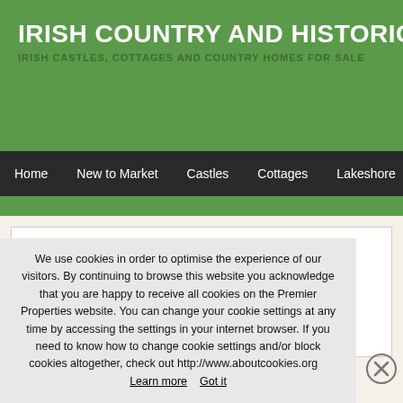IRISH COUNTRY AND HISTORIC PROP...
IRISH CASTLES, COTTAGES AND COUNTRY HOMES FOR SALE
Home   New to Market   Castles   Cottages   Lakeshore   Privacy Poli...
Error 404 - Not Found
We're very sorry, but that page doesn't exist or has been moved.
Please make sure you have the right URL.
We use cookies in order to optimise the experience of our visitors. By continuing to browse this website you acknowledge that you are happy to receive all cookies on the Premier Properties website. You can change your cookie settings at any time by accessing the settings in your internet browser. If you need to know how to change cookie settings and/or block cookies altogether, check out http://www.aboutcookies.org    Learn more    Got it